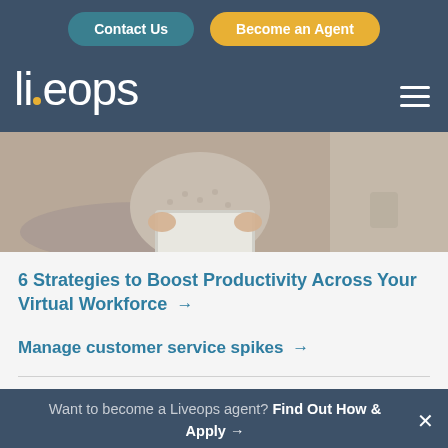Contact Us | Become an Agent
[Figure (logo): Liveops logo in white text on dark blue background with hamburger menu icon on right]
[Figure (photo): Person in cozy sweater using a laptop, hero image banner]
6 Strategies to Boost Productivity Across Your Virtual Workforce →
Manage customer service spikes →
Want to become a Liveops agent? Find Out How & Apply →